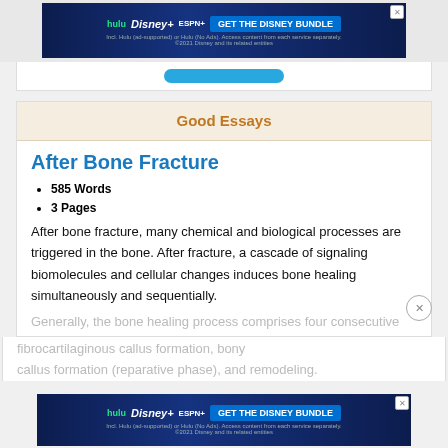[Figure (screenshot): Hulu Disney+ ESPN+ GET THE DISNEY BUNDLE advertisement banner at top of page]
Good Essays
After Bone Fracture
585 Words
3 Pages
After bone fracture, many chemical and biological processes are triggered in the bone. After fracture, a cascade of signaling biomolecules and cellular changes induces bone healing simultaneously and sequentially.
Generally, the bone healing process comprises four consecutive phases: hematoma formation (reactive phase), fibrocartilaginous callus formation, bony callus formation (reparative phase), and remodeling.
[Figure (screenshot): Hulu Disney+ ESPN+ GET THE DISNEY BUNDLE advertisement banner at bottom of page]